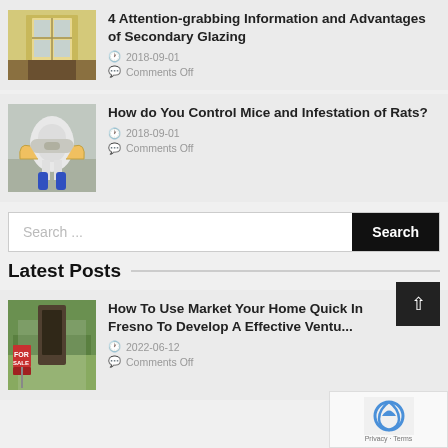[Figure (photo): House with decorative window grille, yellowish wall]
4 Attention-grabbing Information and Advantages of Secondary Glazing
2018-09-01
Comments Off
[Figure (photo): Person in hazmat suit spraying pesticide]
How do You Control Mice and Infestation of Rats?
2018-09-01
Comments Off
Search ...
Search
Latest Posts
[Figure (photo): For Sale sign in front of a house with green bushes]
How To Use Market Your Home Quick In Fresno To Develop A Effective Venture
2022-06-12
Comments Off